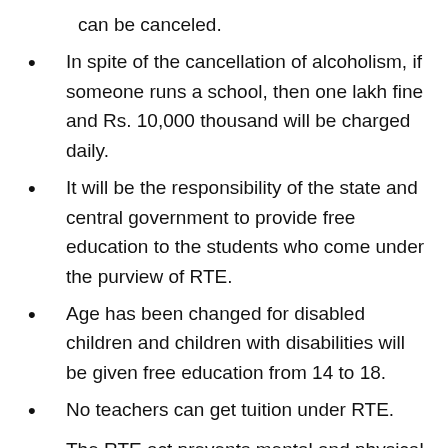can be canceled.
In spite of the cancellation of alcoholism, if someone runs a school, then one lakh fine and Rs. 10,000 thousand will be charged daily.
It will be the responsibility of the state and central government to provide free education to the students who come under the purview of RTE.
Age has been changed for disabled children and children with disabilities will be given free education from 14 to 18.
No teachers can get tuition under RTE.
The RTE act prevents mental and physical